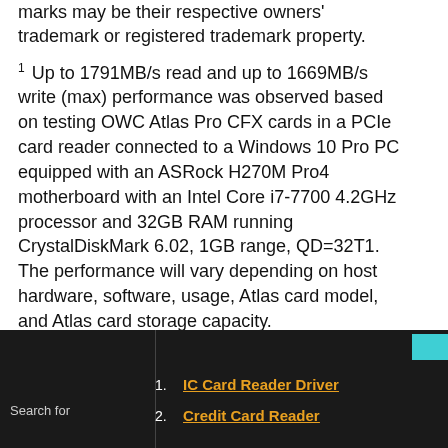marks may be their respective owners' trademark or registered trademark property.
1 Up to 1791MB/s read and up to 1669MB/s write (max) performance was observed based on testing OWC Atlas Pro CFX cards in a PCIe card reader connected to a Windows 10 Pro PC equipped with an ASRock H270M Pro4 motherboard with an Intel Core i7-7700 4.2GHz processor and 32GB RAM running CrystalDiskMark 6.02, 1GB range, QD=32T1. The performance will vary depending on host hardware, software, usage, Atlas card model, and Atlas card storage capacity.
2 Compatible with XQD devices with their firmware updated to support CFexpress
Search for
1. IC Card Reader Driver
2. Credit Card Reader